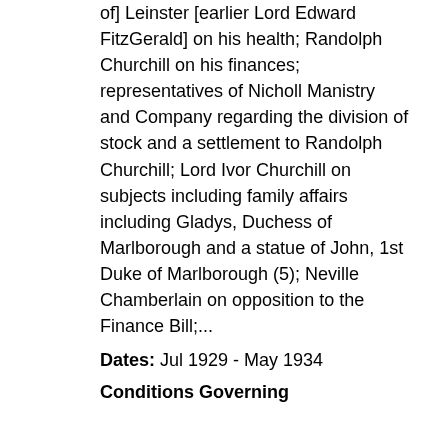of] Leinster [earlier Lord Edward FitzGerald] on his health; Randolph Churchill on his finances; representatives of Nicholl Manistry and Company regarding the division of stock and a settlement to Randolph Churchill; Lord Ivor Churchill on subjects including family affairs including Gladys, Duchess of Marlborough and a statue of John, 1st Duke of Marlborough (5); Neville Chamberlain on opposition to the Finance Bill;...
Dates: Jul 1929 - May 1934
Conditions Governing